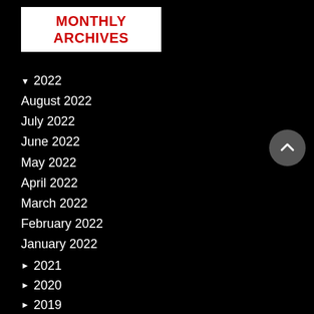MONTHLY ARCHIVES
▼ 2022
August 2022
July 2022
June 2022
May 2022
April 2022
March 2022
February 2022
January 2022
► 2021
► 2020
► 2019
► 2018
► 2017
► 2016
► 2015
► 2014
► 2013
► 2012